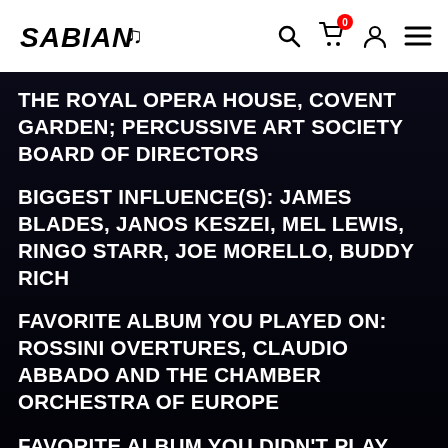SABIAN [logo with navigation icons]
THE ROYAL OPERA HOUSE, COVENT GARDEN; PERCUSSIVE ART SOCIETY BOARD OF DIRECTORS
BIGGEST INFLUENCE(S): JAMES BLADES, JANOS KESZEI, MEL LEWIS, RINGO STARR, JOE MORELLO, BUDDY RICH
FAVORITE ALBUM YOU PLAYED ON: ROSSINI OVERTURES, CLAUDIO ABBADO AND THE CHAMBER ORCHESTRA OF EUROPE
FAVORITE ALBUM YOU DIDN’T PLAY ON: